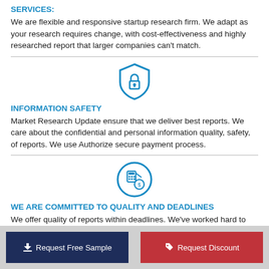SERVICES:
We are flexible and responsive startup research firm. We adapt as your research requires change, with cost-effectiveness and highly researched report that larger companies can't match.
[Figure (illustration): Blue circular shield icon with a padlock in the center]
INFORMATION SAFETY
Market Research Update ensure that we deliver best reports. We care about the confidential and personal information quality, safety, of reports. We use Authorize secure payment process.
[Figure (illustration): Blue circular icon with calculator and coin/money symbols]
WE ARE COMMITTED TO QUALITY AND DEADLINES
We offer quality of reports within deadlines. We've worked hard to find the best ways to offer our customers
Request Free Sample   Request Discount